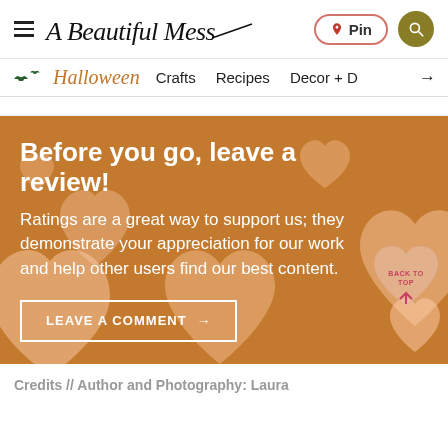A Beautiful Mess — Pin | Search
Halloween — Crafts — Recipes — Decor + →
Before you go, leave a review!
Ratings are a great way to support us; they demonstrate your appreciation for our work and help other users find our best content.
LEAVE A COMMENT →
Credits // Author and Photography: Laura